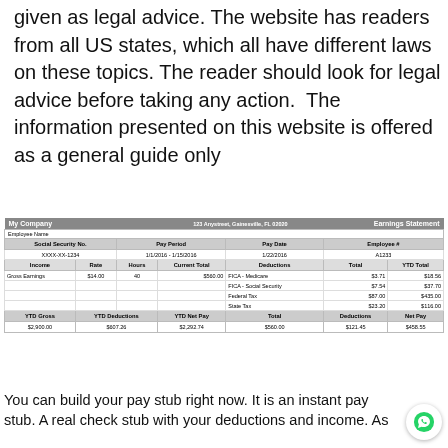given as legal advice. The website has readers from all US states, which all have different laws on these topics. The reader should look for legal advice before taking any action.  The information presented on this website is offered as a general guide only
| My Company | 123 Anystreet, Gainesville, FL 02020 | Earnings Statement |
| --- | --- | --- |
| Employee Name |  |  |  |  |  |  |
| Social Security No. | Pay Period |  | Pay Date |  | Employee # |  |
| XXXX-XX-1234 | 1/1/2016 - 1/15/2016 |  | 1/22/2016 |  | A1233 |  |
| Income | Rate | Hours | Current Total | Deductions | Total | YTD Total |
| Gross Earnings | $14.00 | 40 | $560.00 | FICA - Medicare | $3.71 | $18.56 |
|  |  |  |  | FICA - Social Security | $7.54 | $37.70 |
|  |  |  |  | Federal Tax | $87.00 | $435.00 |
|  |  |  |  | State Tax | $23.20 | $116.00 |
| YTD Gross | YTD Deductions | YTD Net Pay | Total | Deductions | Net Pay |  |
| $2,900.00 | $607.26 | $2,292.74 | $560.00 | $121.45 | $458.55 |  |
You can build your pay stub right now. It is an instant pay stub. A real check stub with your deductions and income. As